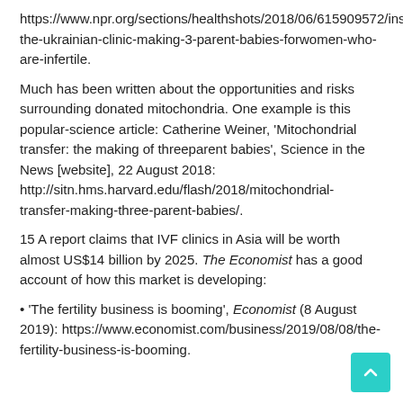https://www.npr.org/sections/healthshots/2018/06/6159099572/inside-the-ukrainian-clinic-making-3-parent-babies-forwomen-who-are-infertile.
Much has been written about the opportunities and risks surrounding donated mitochondria. One example is this popular-science article: Catherine Weiner, 'Mitochondrial transfer: the making of threeparent babies', Science in the News [website], 22 August 2018: http://sitn.hms.harvard.edu/flash/2018/mitochondrial-transfer-making-three-parent-babies/.
15 A report claims that IVF clinics in Asia will be worth almost US$14 billion by 2025. The Economist has a good account of how this market is developing:
'The fertility business is booming', Economist (8 August 2019): https://www.economist.com/business/2019/08/08/the-fertility-business-is-booming.